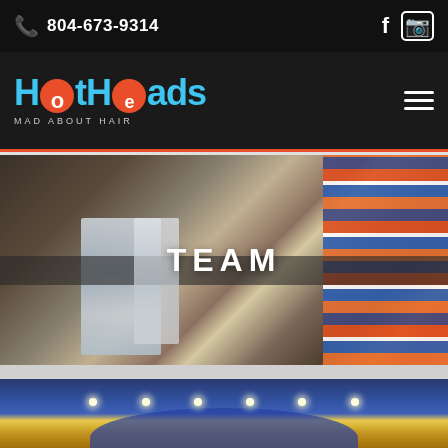📞 804-673-9314
[Figure (logo): HotHeads Mad About Hair salon logo with blue text and red flame icon]
[Figure (photo): Hair salon professional applying hair treatment with foil and plastic wrap, with text overlay 'TEAM']
TEAM
[Figure (photo): Interior of hair salon showing blue ceiling with recessed lights]